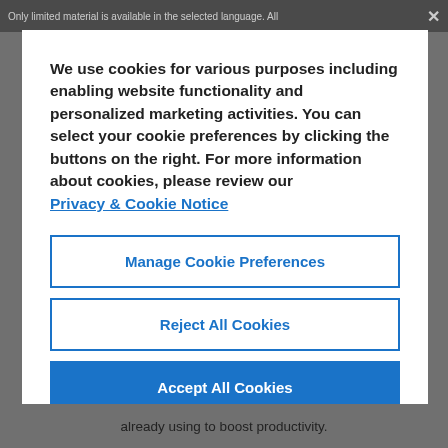Only limited material is available in the selected language. All
We use cookies for various purposes including enabling website functionality and personalized marketing activities. You can select your cookie preferences by clicking the buttons on the right. For more information about cookies, please review our Privacy & Cookie Notice
Manage Cookie Preferences
Reject All Cookies
Accept All Cookies
already using to boost productivity.